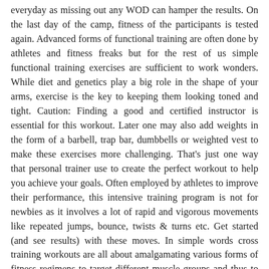everyday as missing out any WOD can hamper the results. On the last day of the camp, fitness of the participants is tested again. Advanced forms of functional training are often done by athletes and fitness freaks but for the rest of us simple functional training exercises are sufficient to work wonders. While diet and genetics play a big role in the shape of your arms, exercise is the key to keeping them looking toned and tight. Caution: Finding a good and certified instructor is essential for this workout. Later one may also add weights in the form of a barbell, trap bar, dumbbells or weighted vest to make these exercises more challenging. That's just one way that personal trainer use to create the perfect workout to help you achieve your goals. Often employed by athletes to improve their performance, this intensive training program is not for newbies as it involves a lot of rapid and vigorous movements like repeated jumps, bounce, twists & turns etc. Get started (and see results) with these moves. In simple words cross training workouts are all about amalgamating various forms of fitness regimens to target different muscle groups and thus to attain complete fitness. Caution: Avoid this workout if you have any mobility issues, injuries or medical conditions like arthritis, back troubles, knee pain, for zumba involves continuous high impact movements. Besides the physical fitness, aerobics is an excellent mode of rejuvenation. Generally, boot camp exercises are aimed to challenge your strength